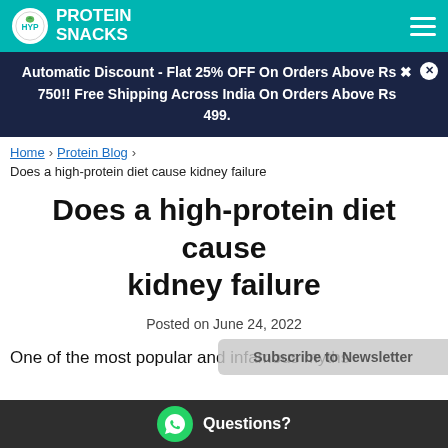HYP PROTEIN SNACKS
Automatic Discount - Flat 25% OFF On Orders Above Rs 750!! Free Shipping Across India On Orders Above Rs 499.
Home › Protein Blog ›
Does a high-protein diet cause kidney failure
Does a high-protein diet cause kidney failure
Posted on June 24, 2022
One of the most popular and infamous myths
Subscribe to Newsletter
Questions?